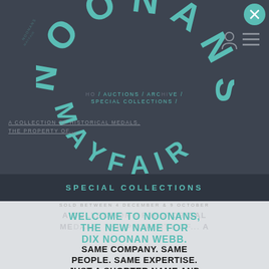[Figure (logo): Noonans Mayfair circular logo with teal letters arranged in a circle on dark background, with smaller repeated text in background]
HOME / AUCTIONS / ARCHIVE / SPECIAL COLLECTIONS /
A COLLECTION OF HISTORICAL MEDALS, THE PROPERTY OF...
SPECIAL COLLECTIONS
SOLD BETWEEN 4 DECEMBER & 9 OCTOBER
WELCOME TO NOONANS, THE NEW NAME FOR DIX NOONAN WEBB.
SAME COMPANY. SAME PEOPLE. SAME EXPERTISE. JUST A SHORTER NAME AND